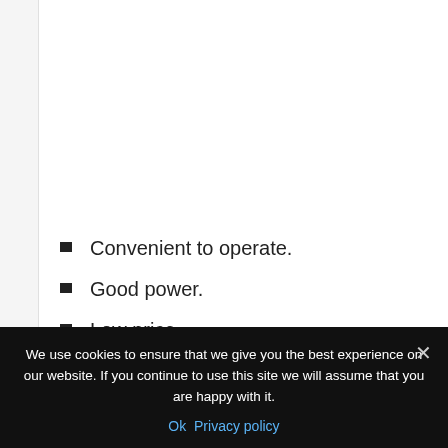Convenient to operate.
Good power.
Low price.
Small size.
Flimsy bearings.
Features of the device. Differences between models
We use cookies to ensure that we give you the best experience on our website. If you continue to use this site we will assume that you are happy with it. Ok  Privacy policy